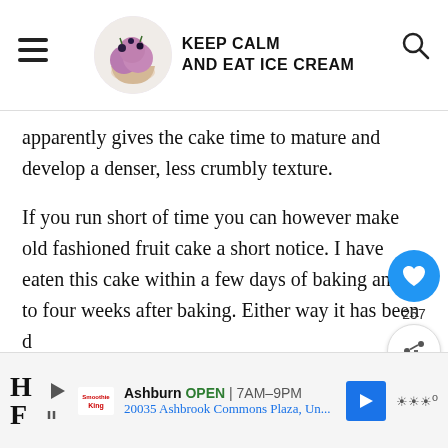KEEP CALM AND EAT ICE CREAM
apparently gives the cake time to mature and develop a denser, less crumbly texture.
If you run short of time you can however make old fashioned fruit cake a short notice. I have eaten this cake within a few days of baking and up to four weeks after baking. Either way it has been d...
[Figure (other): Advertisement banner: Smoothies logo, Ashburn OPEN 7AM-9PM, 20035 Ashbrook Commons Plaza, Un..., blue direction arrow, weather icon]